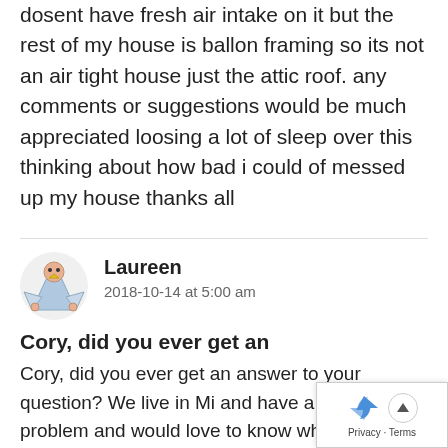dosent have fresh air intake on it but the rest of my house is ballon framing so its not an air tight house just the attic roof. any comments or suggestions would be much appreciated loosing a lot of sleep over this thinking about how bad i could of messed up my house thanks all
[Figure (illustration): User avatar illustration showing a cartoon bird/angel figure with wings and a yellow beak]
Laureen
2018-10-14 at 5:00 am
Cory, did you ever get an
Cory, did you ever get an answer to your question? We live in Mi and have a similar problem and would love to know what you may have discovered.